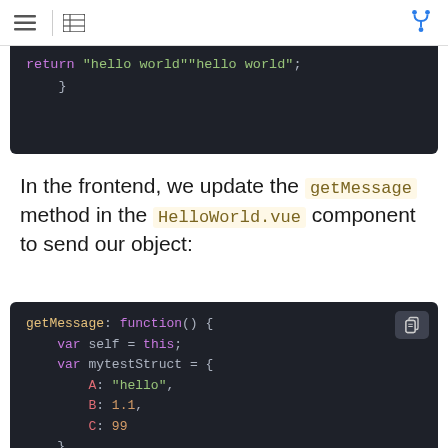navigation menu and table of contents icons, fork icon
[Figure (screenshot): Dark-themed code block showing partial code: 'return "hello world"' and closing brace '}']
In the frontend, we update the getMessage method in the HelloWorld.vue component to send our object:
[Figure (screenshot): Dark-themed code block showing JavaScript: getMessage: function() { var self = this; var mytestStruct = { A: "hello", B: 1.1, C: 99 } and partial line: window.backend.basic(mytestStruct).then(res...]